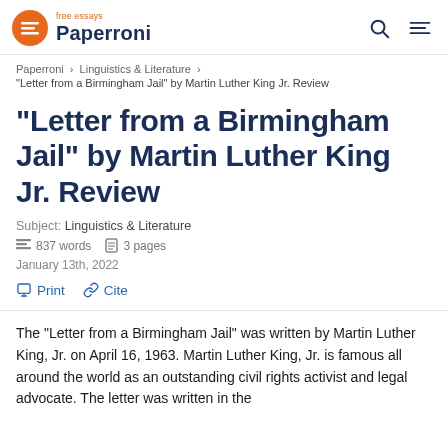free essays Paperroni
Paperroni > Linguistics & Literature >
"Letter from a Birmingham Jail" by Martin Luther King Jr. Review
“Letter from a Birmingham Jail” by Martin Luther King Jr. Review
Subject: Linguistics & Literature
837 words   3 pages
January 13th, 2022
Print   Cite
The “Letter from a Birmingham Jail” was written by Martin Luther King, Jr. on April 16, 1963. Martin Luther King, Jr. is famous all around the world as an outstanding civil rights activist and legal advocate. The letter was written in the